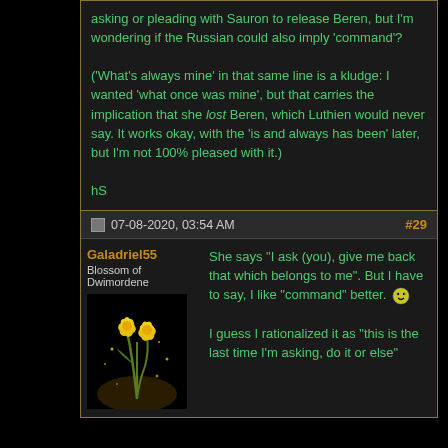asking or pleading with Sauron to release Beren, but I'm wondering if the Russian could also imply 'command'?

('What's always mine' in that same line is a kludge: I wanted 'what once was mine', but that carries the implication that she lost Beren, which Luthien would never say. It works okay, with the 'is and always has been' later, but I'm not 100% pleased with it.)

hS
07-08-2020, 03:54 AM
#29
Galadriel55
Blossom of Dwimordene
[Figure (illustration): Yellow daffodil flowers avatar image on black background]
She says "I ask (you), give me back that which belongs to me". But I have to say, I like "command" better.

I guess I rationalized it as "this is the last time I'm asking, do it or else"